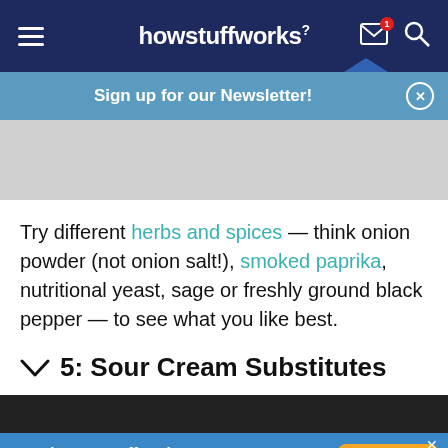howstuffworks
Sign up for our Newsletter!
Try different herbs and spices — think onion powder (not onion salt!), smoked paprika, nutritional yeast, sage or freshly ground black pepper — to see what you like best.
5: Sour Cream Substitutes
[Figure (photo): Partial image of a dark food item, cropped at the bottom of the page]
Get the HowStuffWorks Newsletter!
Sign Up